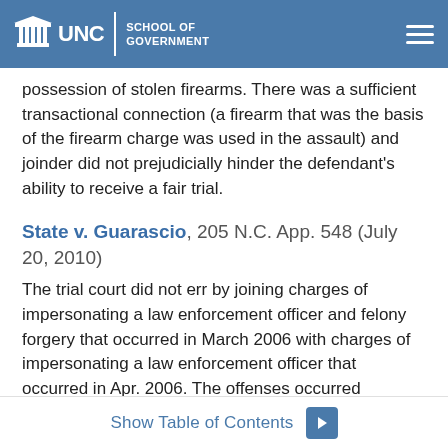UNC School of Government
possession of stolen firearms. There was a sufficient transactional connection (a firearm that was the basis of the firearm charge was used in the assault) and joinder did not prejudicially hinder the defendant’s ability to receive a fair trial.
State v. Guarascio, 205 N.C. App. 548 (July 20, 2010)
The trial court did not err by joining charges of impersonating a law enforcement officer and felony forgery that occurred in March 2006 with charges of impersonating a law enforcement officer that occurred in Apr. 2006. The offenses occurred approximately one month apart. Additionally, on both occasions the
Show Table of Contents